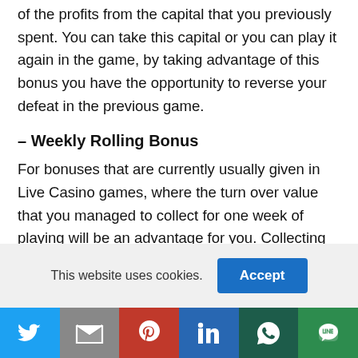of the profits from the capital that you previously spent. You can take this capital or you can play it again in the game, by taking advantage of this bonus you have the opportunity to reverse your defeat in the previous game.
– Weekly Rolling Bonus
For bonuses that are currently usually given in Live Casino games, where the turn over value that you managed to collect for one week of playing will be an advantage for you. Collecting the turn over
This website uses cookies.
[Figure (infographic): Social share bar with Twitter, Gmail, Pinterest, LinkedIn, WhatsApp, and LINE icons]